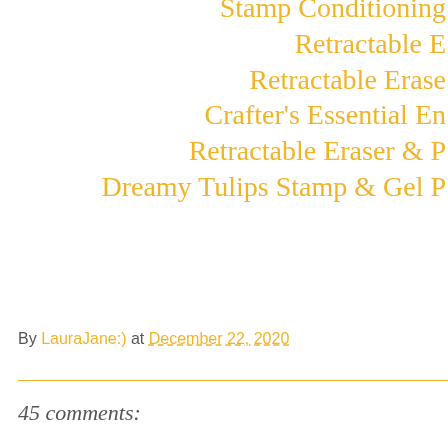Stamp Conditioning
Retractable E
Retractable Erase
Crafter's Essential En
Retractable Eraser & P
Dreamy Tulips Stamp & Gel P
By LauraJane:) at December 22, 2020
45 comments: